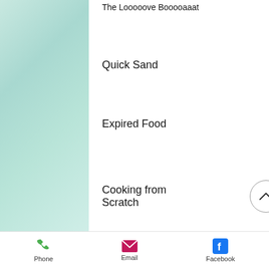The Looooove Booooaaat
Quick Sand
Expired Food
Cooking from Scratch
Phone  Email  Facebook